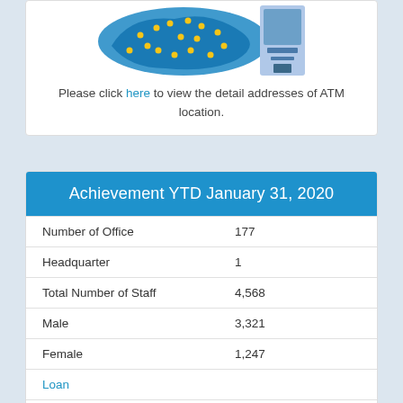[Figure (photo): Photo of a blue map with yellow dots showing ATM/office locations, next to an ATM machine image]
Please click here to view the detail addresses of ATM location.
| Achievement YTD January 31, 2020 |  |
| --- | --- |
| Number of Office | 177 |
| Headquarter | 1 |
| Total Number of Staff | 4,568 |
| Male | 3,321 |
| Female | 1,247 |
| Loan |  |
| Loan Outstanding | USD 1,087 M |
| Number of Active Borrower | 172,169 |
| Deposits |  |